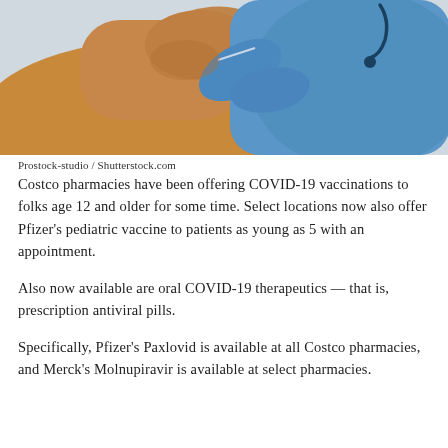[Figure (photo): A patient receiving a vaccine injection in the upper arm from a healthcare worker in blue scrubs and blue gloves.]
Prostock-studio / Shutterstock.com
Costco pharmacies have been offering COVID-19 vaccinations to folks age 12 and older for some time. Select locations now also offer Pfizer’s pediatric vaccine to patients as young as 5 with an appointment.
Also now available are oral COVID-19 therapeutics — that is, prescription antiviral pills.
Specifically, Pfizer’s Paxlovid is available at all Costco pharmacies, and Merck’s Molnupiravir is available at select pharmacies.